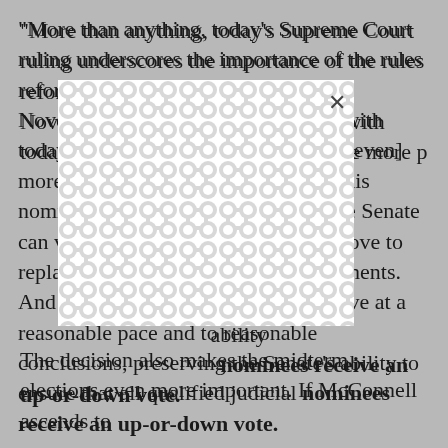“More than anything, today’s Supreme Court ruling underscores the importance of the rules reform Senate Democrats enacted last November. Without that reform, and with today’s ruling, [the Senate] would be [even] more powerless to help [Obama] get his nominees confirmed. At least now, the Senate can vote on the nominees and even move to replace the November recess appointments. And the confirmation process can move at a reasonable pace and to reasonable conclusions, preserving the Senate’s ability to ensure that all qualified judicial nominees receive an up-or-down vote.
[Figure (other): A white modal/popup overlay with a repeating circular/blob pattern in light gray on white background, with an X close button in the upper right corner. The overlay partially obscures the text behind it.]
The decision also makes the midterm elections even more important. If McConnell ascends to